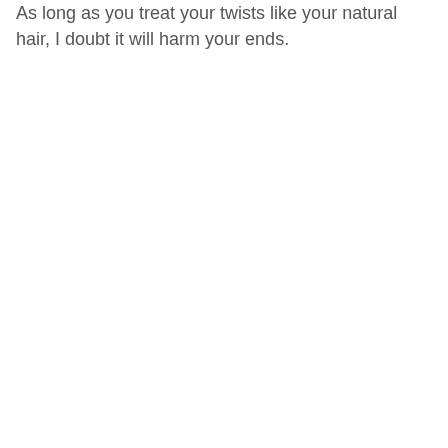As long as you treat your twists like your natural hair, I doubt it will harm your ends.